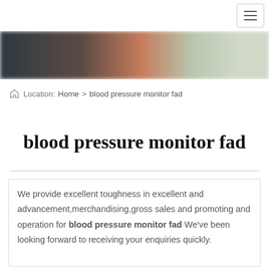[navigation bar with hamburger menu]
[Figure (photo): Blurred hero banner image with dark left side fading to reddish-orange and light green/gray tones on the right]
Location: Home > blood pressure monitor fad
blood pressure monitor fad
We provide excellent toughness in excellent and advancement,merchandising,gross sales and promoting and operation for blood pressure monitor fad We've been looking forward to receiving your enquiries quickly.